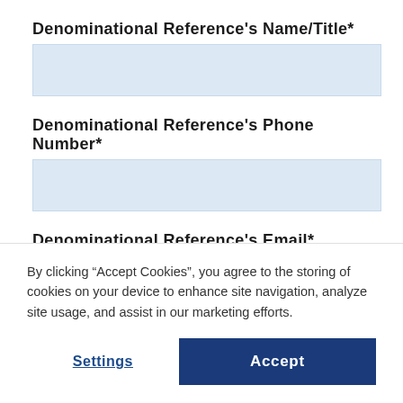Denominational Reference's Name/Title*
Denominational Reference's Phone Number*
Denominational Reference's Email*
Denominational Reference's Affiliated
By clicking “Accept Cookies”, you agree to the storing of cookies on your device to enhance site navigation, analyze site usage, and assist in our marketing efforts.
Settings
Accept